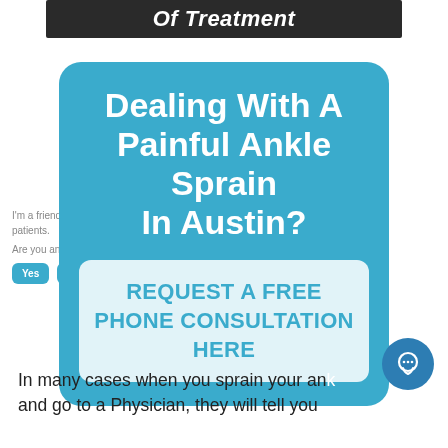[Figure (screenshot): Top banner image with italic bold white text 'Of Treatment' on dark background]
Dealing With A Painful Ankle Sprain In Austin?
REQUEST A FREE PHONE CONSULTATION HERE
In many cases when you sprain your ankle and go to a Physician, they will tell you